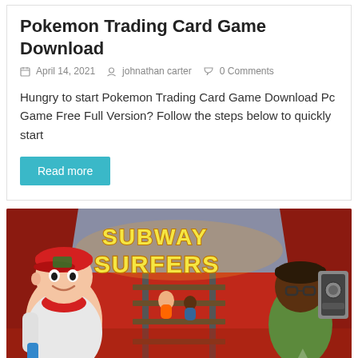Pokemon Trading Card Game Download
April 14, 2021   johnathan carter   0 Comments
Hungry to start Pokemon Trading Card Game Download Pc Game Free Full Version? Follow the steps below to quickly start
Read more
[Figure (illustration): Subway Surfers game promotional image showing the main character Jake wearing a hoodie and cap, the Subway Surfers logo in yellow graffiti style lettering, and another character on the right holding a boombox. Background shows a red subway tunnel with train tracks.]